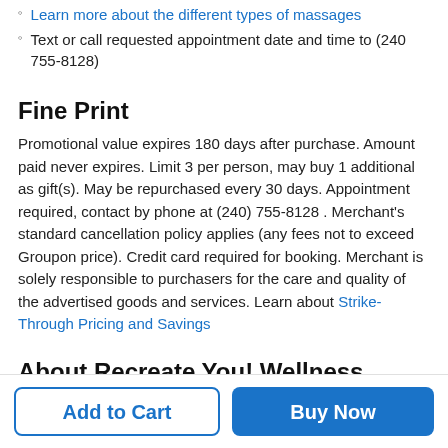Learn more about the different types of massages
Text or call requested appointment date and time to (240 755-8128)
Fine Print
Promotional value expires 180 days after purchase. Amount paid never expires. Limit 3 per person, may buy 1 additional as gift(s). May be repurchased every 30 days. Appointment required, contact by phone at (240) 755-8128 . Merchant's standard cancellation policy applies (any fees not to exceed Groupon price). Credit card required for booking. Merchant is solely responsible to purchasers for the care and quality of the advertised goods and services. Learn about Strike-Through Pricing and Savings
About Recreate You! Wellness Boutique
Add to Cart
Buy Now